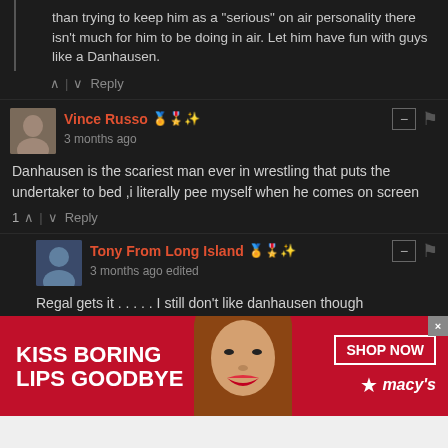than trying to keep him as a "serious" on air personality there isn't much for him to be doing in air. Let him have fun with guys like a Danhausen.
↑ | ↓ Reply
Vince Russo — 3 months ago
Danhausen is the scariest man ever in wrestling that puts the undertaker to bed ,i literally pee myself when he comes on screen
1 ↑ | ↓ Reply
Tony From Long Island — 3 months ago edited
Regal gets it . . . . . I still don't like danhausen though
1 ↑ | ↓ Reply
[Figure (screenshot): Red advertisement banner for Macy's lipstick: 'KISS BORING LIPS GOODBYE' with a woman's face and red lips in center, 'SHOP NOW' button and Macy's star logo on right]